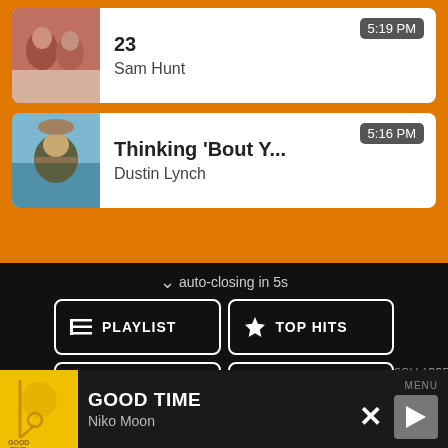[Figure (screenshot): Song card for '23' by Sam Hunt at 5:19 PM with album art showing two people]
23
Sam Hunt
5:19 PM
[Figure (screenshot): Song card for 'Thinking 'Bout Y...' by Dustin Lynch at 5:16 PM with album art showing man in hat]
Thinking 'Bout Y...
Dustin Lynch
5:16 PM
auto-closing in 5s
BACK
PLAYLIST
TOP HITS
LISTEN LIVE
MY VOTES
CONTROLS
COLLAPSE
Data opt-out
GOOD TIME
Niko Moon
MENU